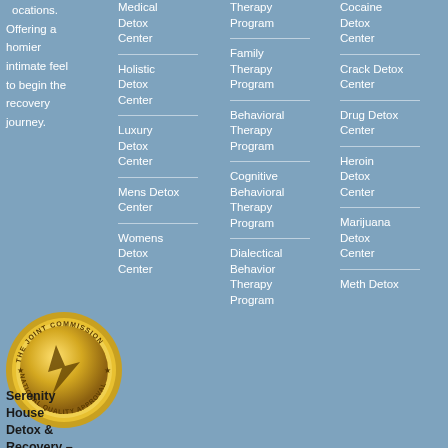locations. Offering a homier intimate feel to begin the recovery journey.
Medical Detox Center
Holistic Detox Center
Luxury Detox Center
Mens Detox Center
Womens Detox Center
Therapy Program
Family Therapy Program
Behavioral Therapy Program
Cognitive Behavioral Therapy Program
Dialectical Behavior Therapy Program
Cocaine Detox Center
Crack Detox Center
Drug Detox Center
Heroin Detox Center
Marijuana Detox Center
Meth Detox Center
[Figure (logo): The Joint Commission National Quality Approval gold seal badge]
Serenity House Detox & Recovery –